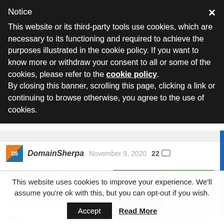Notice
This website or its third-party tools use cookies, which are necessary to its functioning and required to achieve the purposes illustrated in the cookie policy. If you want to know more or withdraw your consent to all or some of the cookies, please refer to the cookie policy.
By closing this banner, scrolling this page, clicking a link or continuing to browse otherwise, you agree to the use of cookies.
DomainSherpa  November 9, 2020  22
This is the show where we get into the minds of successful domain name investors – people we call Sherpas and talk about
[Figure (photo): Two headshot photos side by side: a dark-haired woman on the left against a chalkboard background, and a smiling man on the right against a green leafy background]
This website uses cookies to improve your experience. We'll assume you're ok with this, but you can opt-out if you wish.
Accept   Read More